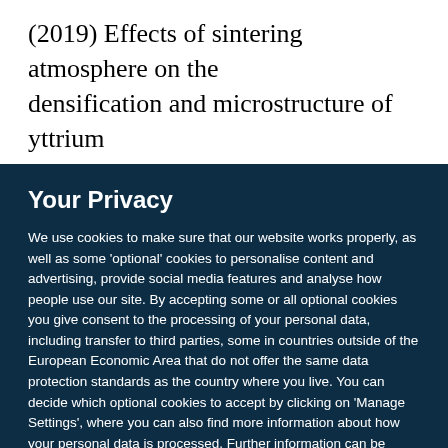(2019) Effects of sintering atmosphere on the densification and microstructure of yttrium
Your Privacy
We use cookies to make sure that our website works properly, as well as some 'optional' cookies to personalise content and advertising, provide social media features and analyse how people use our site. By accepting some or all optional cookies you give consent to the processing of your personal data, including transfer to third parties, some in countries outside of the European Economic Area that do not offer the same data protection standards as the country where you live. You can decide which optional cookies to accept by clicking on 'Manage Settings', where you can also find more information about how your personal data is processed. Further information can be found in our privacy policy.
Accept all cookies
Manage preferences